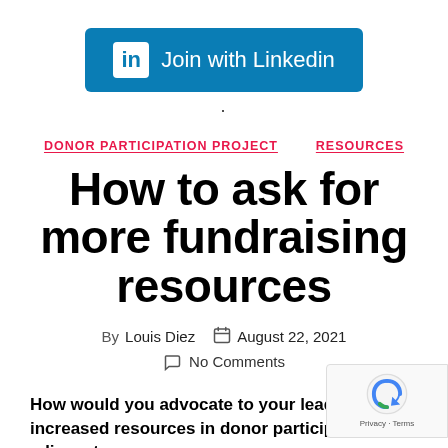[Figure (logo): LinkedIn 'Join with Linkedin' button in blue with white LinkedIn icon and text]
·
DONOR PARTICIPATION PROJECT   RESOURCES
How to ask for more fundraising resources
By Louis Diez   August 22, 2021
No Comments
How would you advocate to your leadership for increased resources in donor participation-adjacent